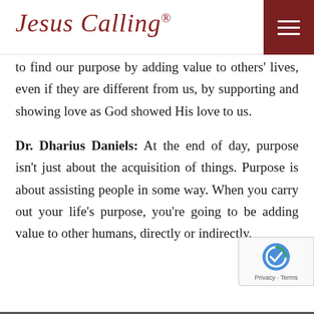Jesus Calling®
to find our purpose by adding value to others' lives, even if they are different from us, by supporting and showing love as God showed His love to us.
Dr. Dharius Daniels: At the end of day, purpose isn't just about the acquisition of things. Purpose is about assisting people in some way. When you carry out your life's purpose, you're going to be adding value to other humans, directly or indirectly.